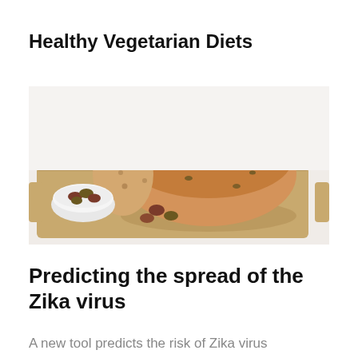Healthy Vegetarian Diets
[Figure (photo): A loaf of olive bread on a wooden cutting board, with a small white bowl of olives and loose olives scattered on the board. White background.]
Predicting the spread of the Zika virus
A new tool predicts the risk of Zika virus importation and local